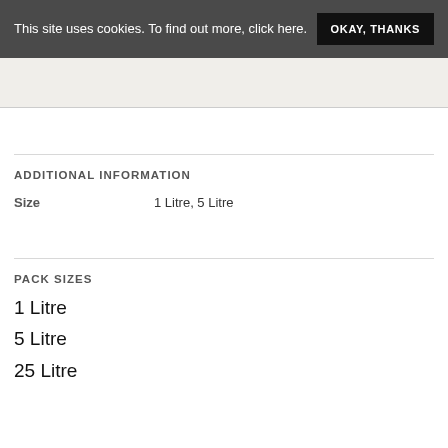This site uses cookies. To find out more, click here. OKAY, THANKS
[Figure (other): Beige/light grey image placeholder area]
ADDITIONAL INFORMATION
| Size |  |
| --- | --- |
| Size | 1 Litre, 5 Litre |
PACK SIZES
1 Litre
5 Litre
25 Litre